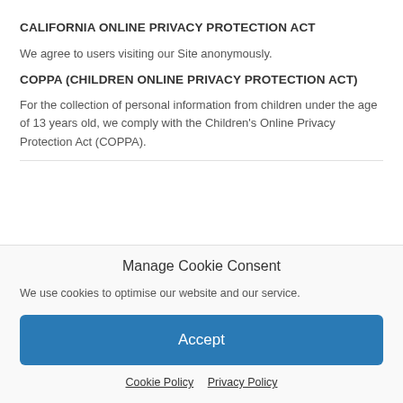CALIFORNIA ONLINE PRIVACY PROTECTION ACT
We agree to users visiting our Site anonymously.
COPPA (CHILDREN ONLINE PRIVACY PROTECTION ACT)
For the collection of personal information from children under the age of 13 years old, we comply with the Children’s Online Privacy Protection Act (COPPA).
Manage Cookie Consent
We use cookies to optimise our website and our service.
Accept
Cookie Policy   Privacy Policy